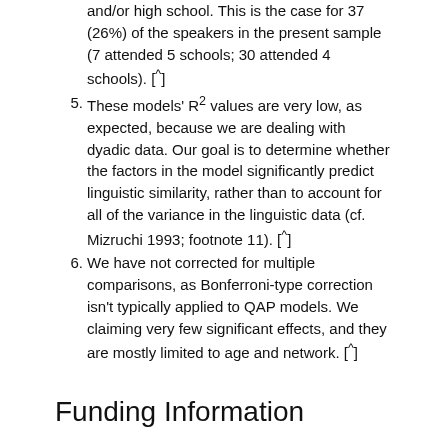These models' R² values are very low, as expected, because we are dealing with dyadic data. Our goal is to determine whether the factors in the model significantly predict linguistic similarity, rather than to account for all of the variance in the linguistic data (cf. Mizruchi 1993; footnote 11). [^]
We have not corrected for multiple comparisons, as Bonferroni-type correction isn't typically applied to QAP models. We claiming very few significant effects, and they are mostly limited to age and network. [^]
Funding Information
This work was supported by the National Science Foundation (BCS-1323153).